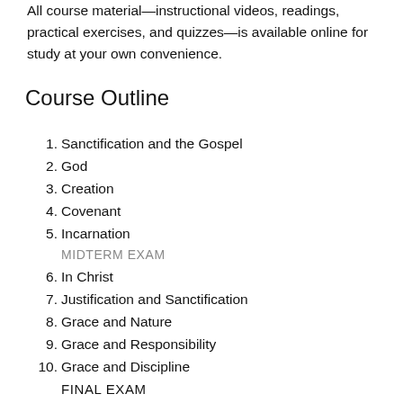All course material—instructional videos, readings, practical exercises, and quizzes—is available online for study at your own convenience.
Course Outline
1. Sanctification and the Gospel
2. God
3. Creation
4. Covenant
5. Incarnation
MIDTERM EXAM
6. In Christ
7. Justification and Sanctification
8. Grace and Nature
9. Grace and Responsibility
10. Grace and Discipline
FINAL EXAM